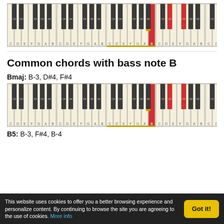[Figure (illustration): Piano keyboard diagram showing highlighted keys B (red/bass), D#, F# in red and yellow marker]
Common chords with bass note B
Bmaj: B-3, D#4, F#4
[Figure (illustration): Piano keyboard diagram for Bmaj chord showing B-3, D#4, F#4 keys highlighted]
B5: B-3, F#4, B-4
This website uses cookies to offer you a better browsing experience and personalize content. By continuing to browse the site you are agreeing to the use of cookies. More info